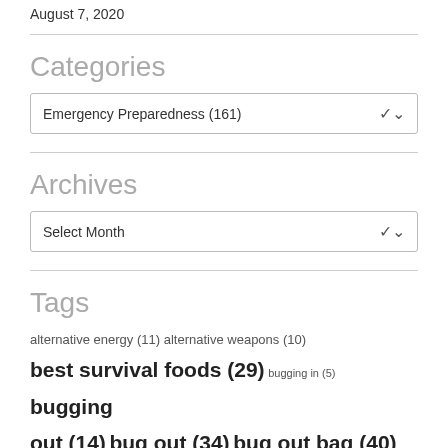August 7, 2020
Categories
Emergency Preparedness  (161)
Archives
Select Month
Tags
alternative energy (11) alternative weapons (10) best survival foods (29) bugging in (5) bugging out (14) bug out (34) bug out bag (40)